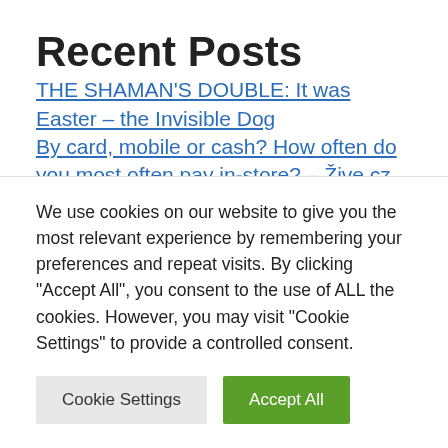Recent Posts
THE SHAMAN'S DOUBLE: It was Easter – the Invisible Dog
By card, mobile or cash? How often do you most often pay in-store? – Žive.cz
Crying white man. What are the traditional
We use cookies on our website to give you the most relevant experience by remembering your preferences and repeat visits. By clicking "Accept All", you consent to the use of ALL the cookies. However, you may visit "Cookie Settings" to provide a controlled consent.
Cookie Settings | Accept All